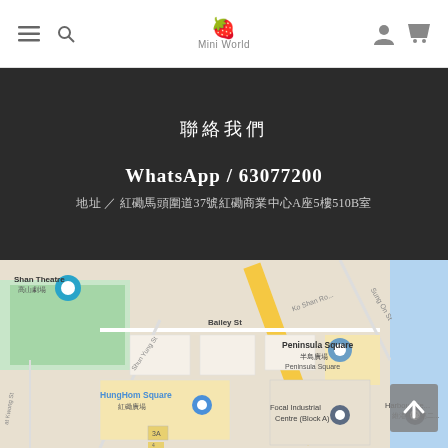Mini World — navigation header with menu, search, logo, user and cart icons
聯絡我們
WhatsApp / 63077200
地址 / 紅磡馬頭圍道37號紅磡商業中心A座5樓510B室
[Figure (map): Google Maps screenshot showing HungHom area of Hong Kong, featuring Peninsula Square, HungHom Square, Shan Theatre, Ko Shan Road, Bailey Street, Sung On Street, Focal Industrial Centre, and Harbour Centre landmarks.]